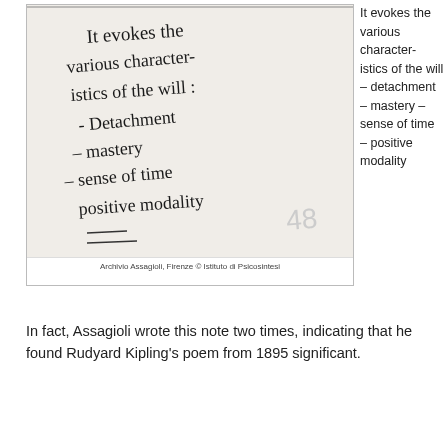[Figure (photo): A handwritten note on paper reading: 'It evokes the various characteristics of the will: - Detachment - mastery - sense of time - positive modality' with a stamp/number 48 visible. Caption below reads: Archivio Assagioli, Firenze © Istituto di Psicosintesi]
Archivio Assagioli, Firenze © Istituto di Psicosintesi
It evokes the various character-istics of the will – detachment – mastery – sense of time – positive modality
In fact, Assagioli wrote this note two times, indicating that he found Rudyard Kipling's poem from 1895 significant.